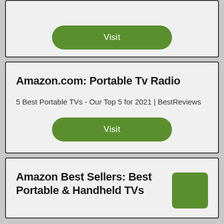[Figure (screenshot): Green Visit button (pill-shaped, green background, white text) cropped card at top of page]
Amazon.com: Portable Tv Radio
5 Best Portable TVs - Our Top 5 for 2021 | BestReviews
[Figure (screenshot): Green Visit button (pill-shaped, green background, white text)]
Amazon Best Sellers: Best Portable & Handheld TVs
[Figure (illustration): Green square icon/thumbnail in bottom right of card]